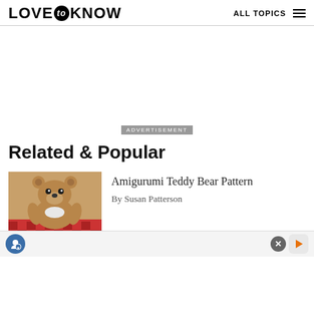LOVE to KNOW  ALL TOPICS
[Figure (other): Advertisement placeholder area with ADVERTISEMENT label]
Related & Popular
[Figure (photo): Amigurumi crocheted teddy bear, tan/brown yarn, sitting on red checkered surface]
Amigurumi Teddy Bear Pattern
By Susan Patterson